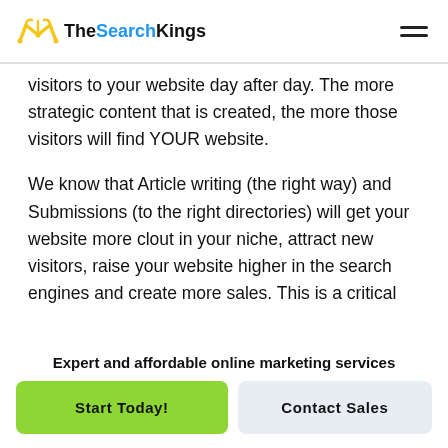TheSearchKings
visitors to your website day after day. The more strategic content that is created, the more those visitors will find YOUR website.
We know that Article writing (the right way) and Submissions (to the right directories) will get your website more clout in your niche, attract new visitors, raise your website higher in the search engines and create more sales. This is a critical
Expert and affordable online marketing services
Start Today!
Contact Sales